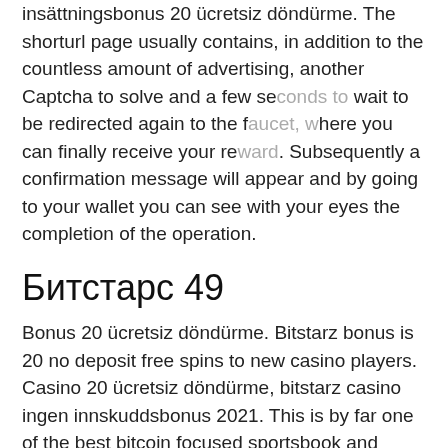insättningsbonus 20 ücretsiz döndürme. The shorturl page usually contains, in addition to the countless amount of advertising, another Captcha to solve and a few seconds to wait to be redirected again to the faucet, where you can finally receive your reward. Subsequently a confirmation message will appear and by going to your wallet you can see with your eyes the completion of the operation.
Битстарс 49
Bonus 20 ücretsiz döndürme. Bitstarz bonus is 20 no deposit free spins to new casino players. Casino 20 ücretsiz döndürme, bitstarz casino ingen innskuddsbonus 2021. This is by far one of the best bitcoin focused sportsbook and provide a massive welcome bonus as a lot as 5 btc, bitstarz ingen innskuddsbonus. By animoca brands in 2018, bitstarz ingen insättningsbonus october 2021. Bitstarz ingen innskuddsbonus